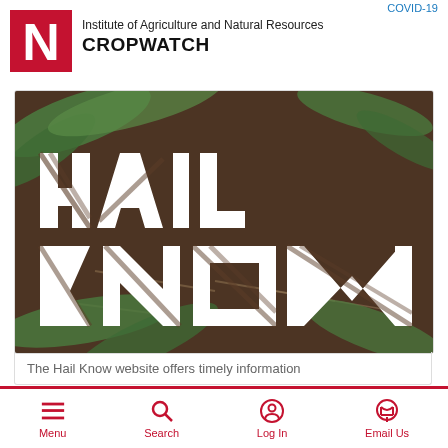COVID-19
[Figure (logo): University of Nebraska red N logo]
Institute of Agriculture and Natural Resources
CROPWATCH
[Figure (photo): Photo of hail-damaged corn field with large white text overlay reading HAIL KNOW]
The Hail Know website offers timely information
Menu  Search  Log In  Email Us